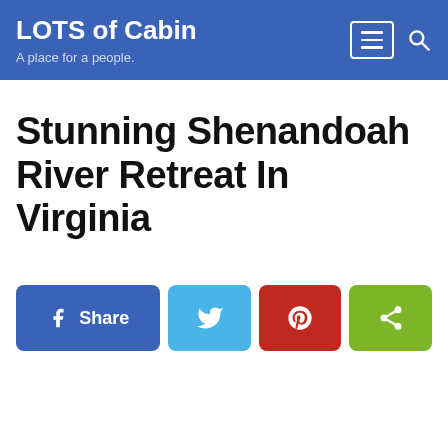LOTS of Cabin — A place for a people.
Stunning Shenandoah River Retreat In Virginia
[Figure (other): Social share buttons: Facebook Share, Twitter, Pinterest, and a general share button]